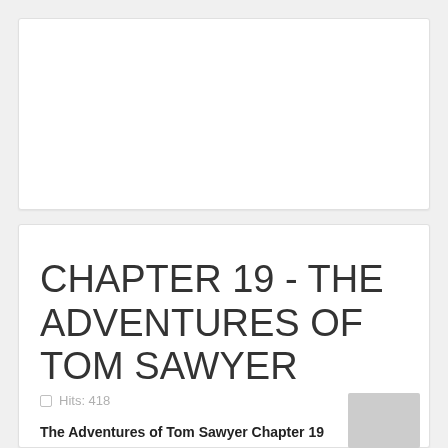CHAPTER 19 - THE ADVENTURES OF TOM SAWYER
Hits: 418
The Adventures of Tom Sawyer Chapter 19